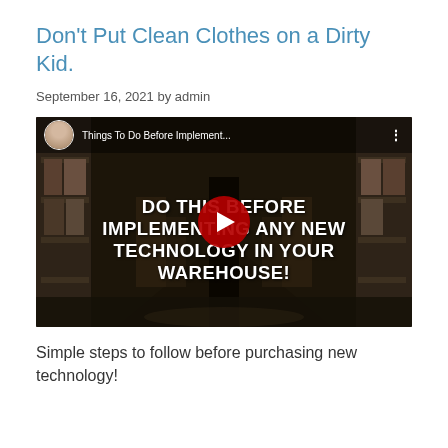Don't Put Clean Clothes on a Dirty Kid.
September 16, 2021 by admin
[Figure (screenshot): YouTube video thumbnail showing a warehouse interior with bold white text overlay reading 'DO THIS BEFORE IMPLEMENTING ANY NEW TECHNOLOGY IN YOUR WAREHOUSE!' and a red play button in the center. The top bar shows a circular avatar photo and title 'Things To Do Before Implement...' with a three-dot menu icon.]
Simple steps to follow before purchasing new technology!